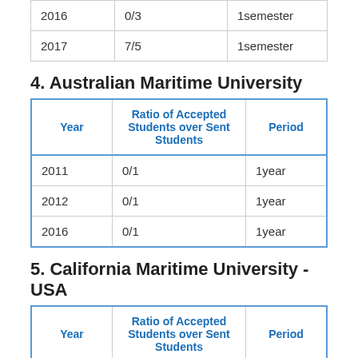| Year | Ratio of Accepted Students over Sent Students | Period |
| --- | --- | --- |
| 2016 | 0/3 | 1semester |
| 2017 | 7/5 | 1semester |
4. Australian Maritime University
| Year | Ratio of Accepted Students over Sent Students | Period |
| --- | --- | --- |
| 2011 | 0/1 | 1year |
| 2012 | 0/1 | 1year |
| 2016 | 0/1 | 1year |
5. California Maritime University - USA
| Year | Ratio of Accepted Students over Sent Students | Period |
| --- | --- | --- |
| 2015 | 0/1 | 1year |
| 2016 | 0/1 | 1year |